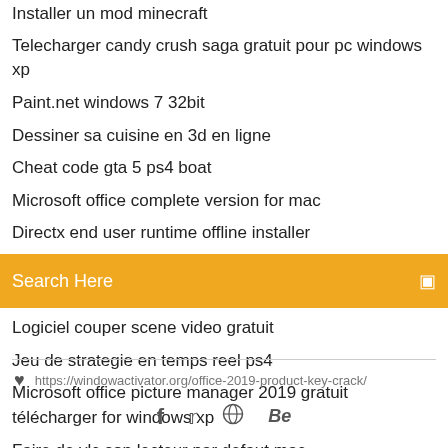Installer un mod minecraft
Telecharger candy crush saga gratuit pour pc windows xp
Paint.net windows 7 32bit
Dessiner sa cuisine en 3d en ligne
Cheat code gta 5 ps4 boat
Microsoft office complete version for mac
Directx end user runtime offline installer
[Figure (other): Orange search bar with text 'Search Here' and a small icon on the right]
Logiciel couper scene video gratuit
Jeu de strategie en temps reel ps4
Microsoft office picture manager 2019 gratuit télécharger for windows xp
Faire de vlc son lecteur par defaut mac
Télécharger europa universalis iv dharma
https://windowactivator.org/office-2019-product-key-crack/